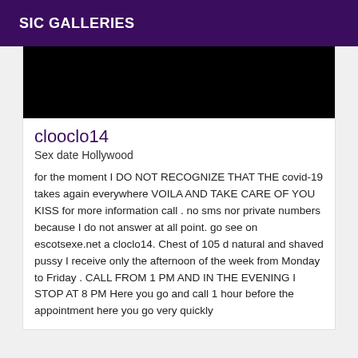SIC GALLERIES
[Figure (photo): Black rectangle image placeholder]
clooclo14
Sex date Hollywood
for the moment I DO NOT RECOGNIZE THAT THE covid-19 takes again everywhere VOILA AND TAKE CARE OF YOU KISS for more information call . no sms nor private numbers because I do not answer at all point. go see on escotsexe.net a cloclo14. Chest of 105 d natural and shaved pussy I receive only the afternoon of the week from Monday to Friday . CALL FROM 1 PM AND IN THE EVENING I STOP AT 8 PM Here you go and call 1 hour before the appointment here you go very quickly